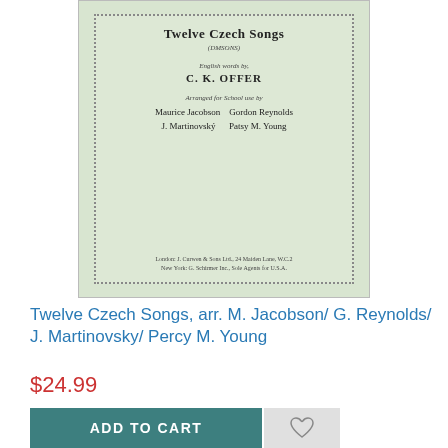[Figure (photo): Cover of a sheet music book titled 'Twelve Czech Songs', with English words by C. K. Offer, arranged for school use by Maurice Jacobson, Gordon Reynolds, J. Martinovsky, Patsy M. Young. Published by London: J. Curwen & Sons Ltd., New York: G. Schirmer Inc.]
Twelve Czech Songs, arr. M. Jacobson/ G. Reynolds/ J. Martinovsky/ Percy M. Young
$24.99